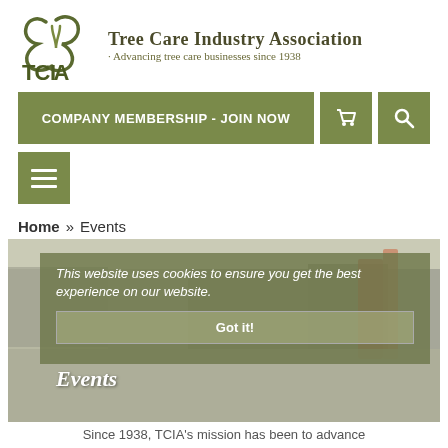[Figure (logo): TCIA logo with tree care symbol and text: Tree Care Industry Association, Advancing tree care businesses since 1938]
COMPANY MEMBERSHIP - JOIN NOW
[Figure (infographic): Cookie consent overlay on hero image of tree care trade show. Text: This website uses cookies to ensure you get the best experience on our website. Got it! button. Events title visible below.]
Home » Events
Events
Since 1938, TCIA's mission has been to advance